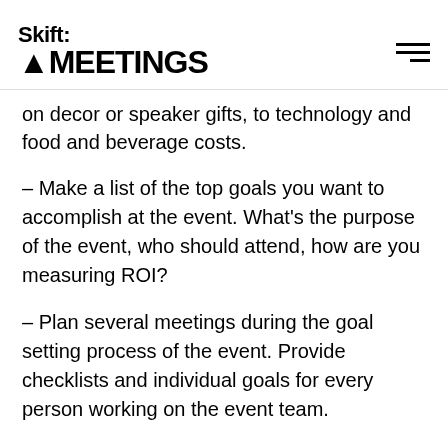Skift MEETINGS
on decor or speaker gifts, to technology and food and beverage costs.
– Make a list of the top goals you want to accomplish at the event. What's the purpose of the event, who should attend, how are you measuring ROI?
– Plan several meetings during the goal setting process of the event. Provide checklists and individual goals for every person working on the event team.
Let the Event Planning Begin